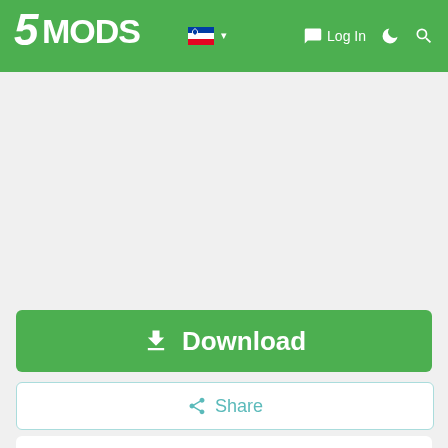5MODS navigation bar with logo, Slovenian flag, Log In, and icons
[Figure (screenshot): Advertisement or empty gray area below the navigation bar]
[Figure (screenshot): Green Download button with download icon]
[Figure (screenshot): Share button with share icon in teal/cyan color]
[Figure (screenshot): Mod info card showing Pursuit mod with blue icon featuring letter P and social media icons]